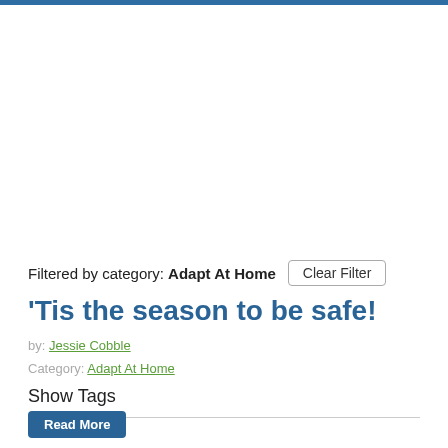Filtered by category: Adapt At Home
'Tis the season to be safe!
by: Jessie Cobble
Category: Adapt At Home
Show Tags